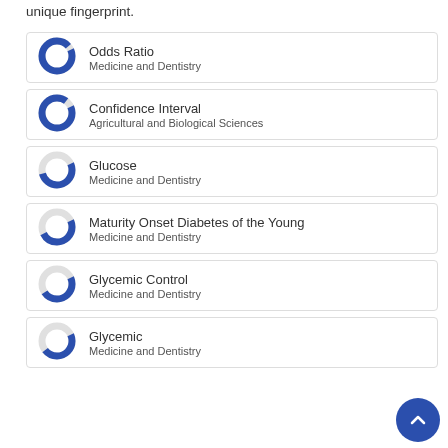unique fingerprint.
Odds Ratio — Medicine and Dentistry
Confidence Interval — Agricultural and Biological Sciences
Glucose — Medicine and Dentistry
Maturity Onset Diabetes of the Young — Medicine and Dentistry
Glycemic Control — Medicine and Dentistry
Glycemic — Medicine and Dentistry